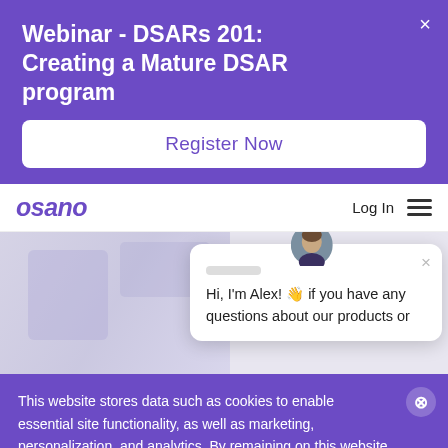Webinar - DSARs 201: Creating a Mature DSAR program
Register Now
[Figure (logo): Osano logo in purple italic text]
Log In
[Figure (screenshot): Website hero area with blurred background and chat widget. Chat widget shows avatar, close button, and text: Hi, I'm Alex! 👋 if you have any questions about our products or]
This website stores data such as cookies to enable essential site functionality, as well as marketing, personalization, and analytics. By remaining on this website you indicate your consent. Cookie Policy